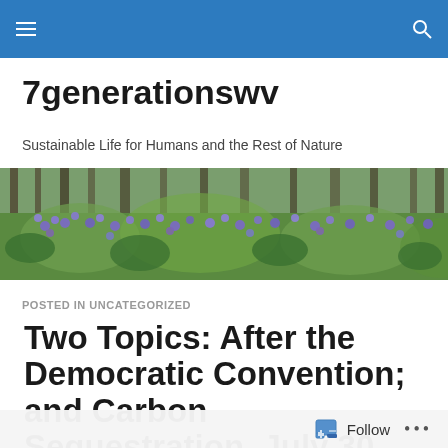7generationswv navigation bar
7generationswv
Sustainable Life for Humans and the Rest of Nature
[Figure (photo): Wide panoramic photo of a forest undergrowth with purple/blue wildflowers and green foliage]
POSTED IN UNCATEGORIZED
Two Topics: After the Democratic Convention; and Carbon Sequestration, July 30
Follow